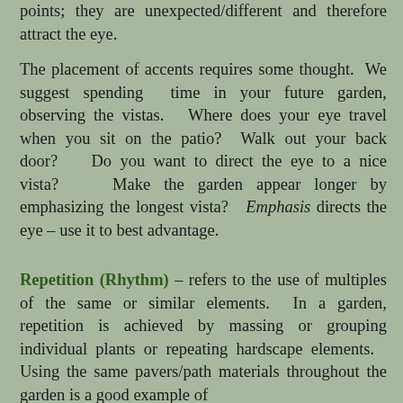points; they are unexpected/different and therefore attract the eye.
The placement of accents requires some thought. We suggest spending time in your future garden, observing the vistas. Where does your eye travel when you sit on the patio? Walk out your back door? Do you want to direct the eye to a nice vista? Make the garden appear longer by emphasizing the longest vista? Emphasis directs the eye – use it to best advantage.
Repetition (Rhythm) – refers to the use of multiples of the same or similar elements. In a garden, repetition is achieved by massing or grouping individual plants or repeating hardscape elements. Using the same pavers/path materials throughout the garden is a good example of